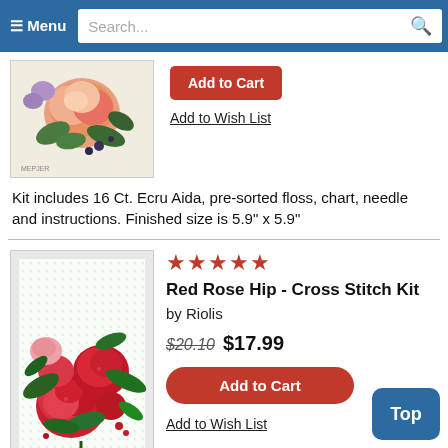≡ Menu  Search...
[Figure (photo): Cross stitch embroidery of a pink/orange rose with green leaves on ecru fabric, partially visible at top]
Add to Cart
Add to Wish List
Kit includes 16 Ct. Ecru Aida, pre-sorted floss, chart, needle and instructions. Finished size is 5.9" x 5.9"
[Figure (photo): Cross stitch embroidery of red rose hip blossoms with green leaves on white fabric with decorative border]
★★★★★ Red Rose Hip - Cross Stitch Kit by Riolis
$20.10 $17.99
Add to Cart
Add to Wish List
Cross stitch kit from Riolis featuring colorful ros... blossoms!